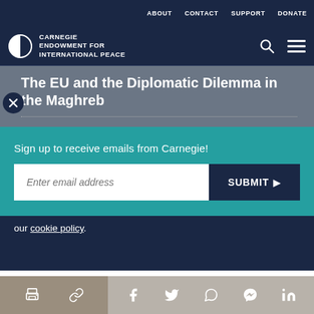ABOUT   CONTACT   SUPPORT   DONATE
[Figure (logo): Carnegie Endowment for International Peace logo with circular half-filled icon and text]
The EU and the Diplomatic Dilemma in the Maghreb
Sign up to receive emails from Carnegie!
Enter email address
SUBMIT
our cookie policy.
Share icons: print, link, facebook, twitter, whatsapp, messenger, linkedin